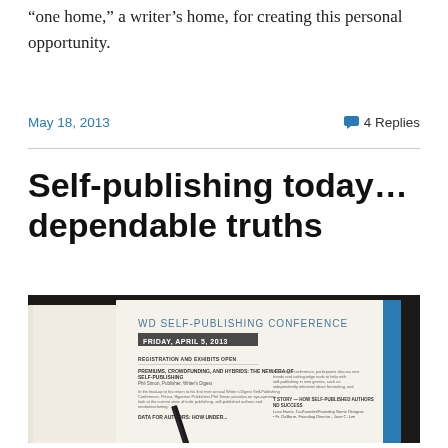“one home,” a writer’s home, for creating this personal opportunity.
May 18, 2013  💬 4 Replies
Self-publishing today… dependable truths
[Figure (photo): Open conference program booklet for 'WD Self-Publishing Conference, Friday, April 5, 2013' with a pen resting on it, showing session listings and schedule details.]